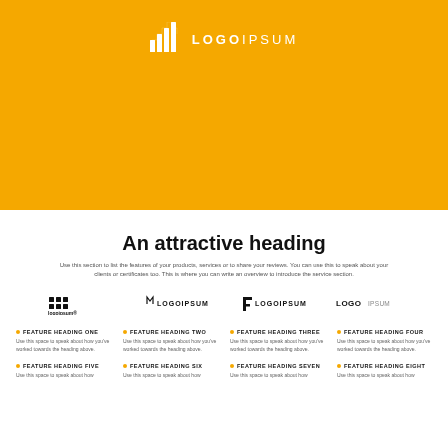[Figure (logo): LOGOIPSUM logo with white bar chart icon and text on yellow/amber background]
An attractive heading
Use this section to list the features of your products, services or to share your reviews. You can use this to speak about your clients or certificates too. This is where you can write an overview to introduce the service section.
[Figure (logo): Four brand logos displayed in a row: logoipsum black dots version, LOGOIPSUM text version, LOGOIPSUM with icon, and LOGO text version]
FEATURE HEADING ONE
Use this space to speak about how you've worked towards the heading above.
FEATURE HEADING TWO
Use this space to speak about how you've worked towards the heading above.
FEATURE HEADING THREE
Use this space to speak about how you've worked towards the heading above.
FEATURE HEADING FOUR
Use this space to speak about how you've worked towards the heading above.
FEATURE HEADING FIVE
Use this space to speak about how
FEATURE HEADING SIX
Use this space to speak about how
FEATURE HEADING SEVEN
Use this space to speak about how
FEATURE HEADING EIGHT
Use this space to speak about how